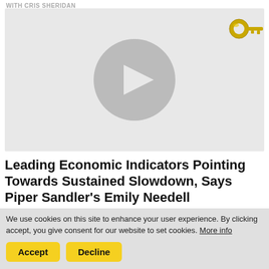WITH CRIS SHERIDAN
[Figure (screenshot): Video thumbnail placeholder with gray background, a gold/yellow key icon in the top-right corner, and a large gray circular play button in the center.]
Leading Economic Indicators Pointing Towards Sustained Slowdown, Says Piper Sandler's Emily Needell
WITH CRIS SHERIDAN
We use cookies on this site to enhance your user experience. By clicking accept, you give consent for our website to set cookies. More info
Accept
Decline